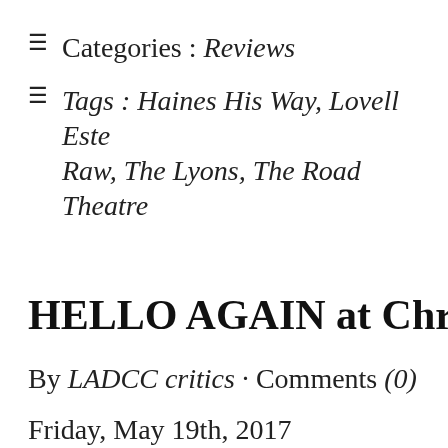Categories : Reviews
Tags : Haines His Way, Lovell Este Raw, The Lyons, The Road Theatre
HELLO AGAIN at Chromolum
By LADCC critics · Comments (0)
Friday, May 19th, 2017